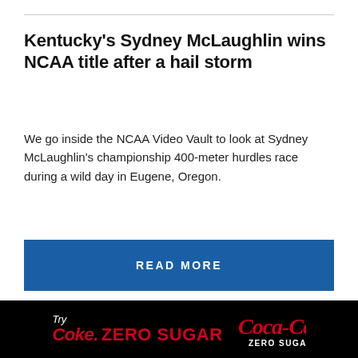Kentucky's Sydney McLaughlin wins NCAA title after a hail storm
We go inside the NCAA Video Vault to look at Sydney McLaughlin's championship 400-meter hurdles race during a wild day in Eugene, Oregon.
READ MORE
[Figure (infographic): Three pagination dots: one filled (active), two empty circles]
[Figure (infographic): Coca-Cola Zero Sugar advertisement banner with red and white text on black background. Text reads: Try Coke. ZERO SUGAR with Coca-Cola Zero Sugar logo on the right.]